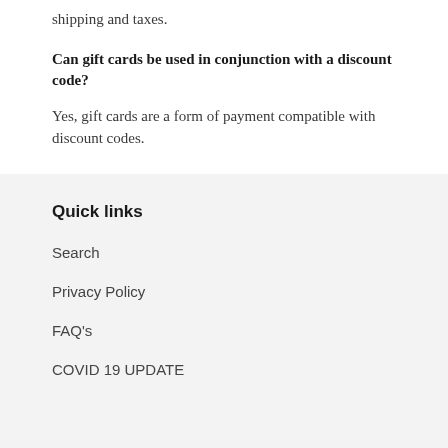shipping and taxes.
Can gift cards be used in conjunction with a discount code?
Yes, gift cards are a form of payment compatible with discount codes.
Quick links
Search
Privacy Policy
FAQ's
COVID 19 UPDATE
Chat with us